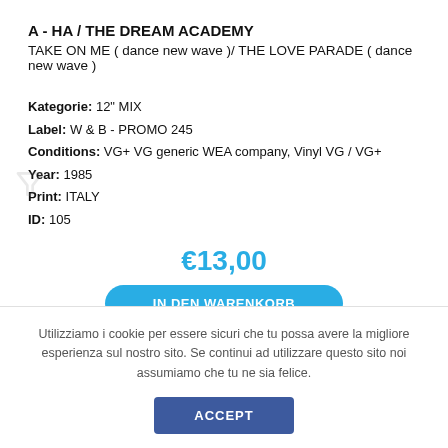A - HA / THE DREAM ACADEMY
TAKE ON ME ( dance new wave )/ THE LOVE PARADE ( dance new wave )
Kategorie: 12" MIX
Label: W & B - PROMO 245
Conditions: VG+ VG generic WEA company, Vinyl VG / VG+
Year: 1985
Print: ITALY
ID: 105
€13,00
IN DEN WARENKORB
Utilizziamo i cookie per essere sicuri che tu possa avere la migliore esperienza sul nostro sito. Se continui ad utilizzare questo sito noi assumiamo che tu ne sia felice.
ACCEPT